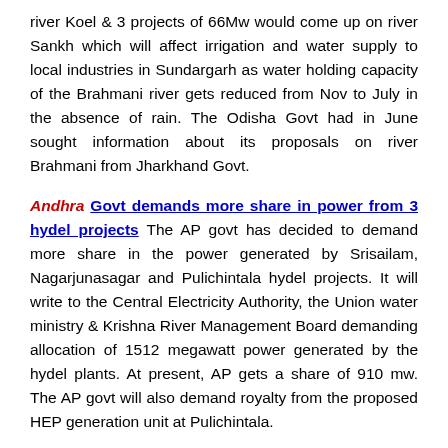river Koel & 3 projects of 66Mw would come up on river Sankh which will affect irrigation and water supply to local industries in Sundargarh as water holding capacity of the Brahmani river gets reduced from Nov to July in the absence of rain. The Odisha Govt had in June sought information about its proposals on river Brahmani from Jharkhand Govt.
Andhra Govt demands more share in power from 3 hydel projects The AP govt has decided to demand more share in the power generated by Srisailam, Nagarjunasagar and Pulichintala hydel projects. It will write to the Central Electricity Authority, the Union water ministry & Krishna River Management Board demanding allocation of 1512 megawatt power generated by the hydel plants. At present, AP gets a share of 910 mw. The AP govt will also demand royalty from the proposed HEP generation unit at Pulichintala.